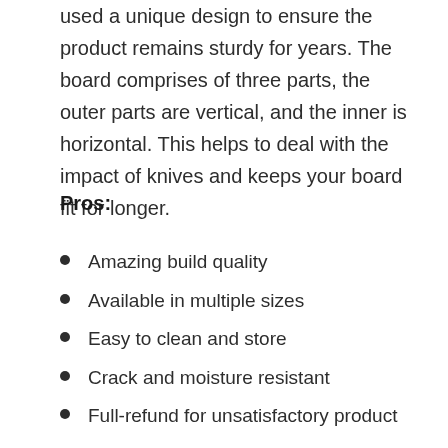used a unique design to ensure the product remains sturdy for years. The board comprises of three parts, the outer parts are vertical, and the inner is horizontal. This helps to deal with the impact of knives and keeps your board fit for longer.
Pros:
Amazing build quality
Available in multiple sizes
Easy to clean and store
Crack and moisture resistant
Full-refund for unsatisfactory product